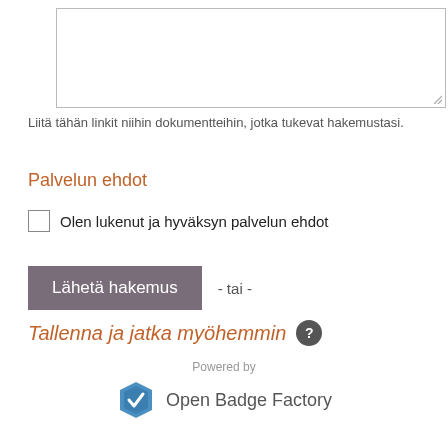[Figure (screenshot): Text area input box with resize handle]
Liitä tähän linkit niihin dokumentteihin, jotka tukevat hakemustasi.
Palvelun ehdot
Olen lukenut ja hyväksyn palvelun ehdot
Lähetä hakemus  - tai -
Tallenna ja jatka myöhemmin
[Figure (logo): Open Badge Factory logo with hexagonal badge icon and text 'Open Badge Factory']